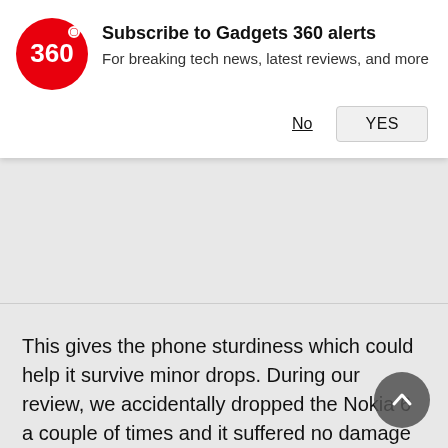[Figure (logo): Gadgets 360 red circle logo with '360' text]
Subscribe to Gadgets 360 alerts
For breaking tech news, latest reviews, and more
[Figure (other): Gray advertisement placeholder area]
This gives the phone sturdiness which could help it survive minor drops. During our review, we accidentally dropped the Nokia 6 a couple of times and it suffered no damage whatsoever. The metallic back means that the phone is slippery and we would recommend using a